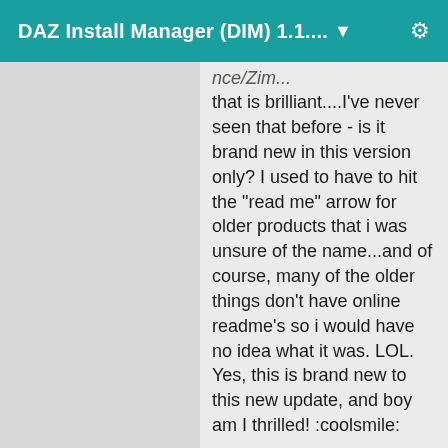DAZ Install Manager (DIM) 1.1.... ▼
that is brilliant....I've never seen that before - is it brand new in this version only? I used to have to hit the "read me" arrow for older products that i was unsure of the name...and of course, many of the older things don't have online readme's so i would have no idea what it was. LOL.
Yes, this is brand new to this new update, and boy am I thrilled! :coolsmile:
It's so nice to be able to see what an item is without having to boot up my external to